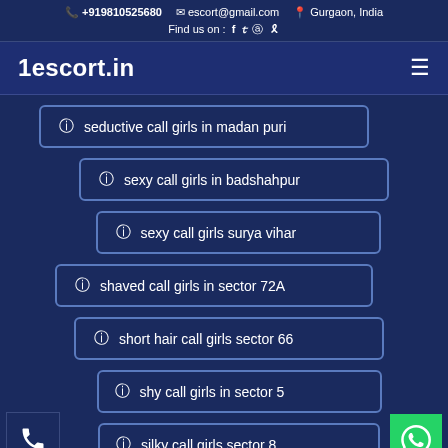+919810525680 escort@gmail.com Gurgaon, India Find us on : f tw ig yt
1escort.in
seductive call girls in madan puri
sexy call girls in badshahpur
sexy call girls surya vihar
shaved call girls in sector 72A
short hair call girls sector 66
shy call girls in sector 5
silky call girls sector 8